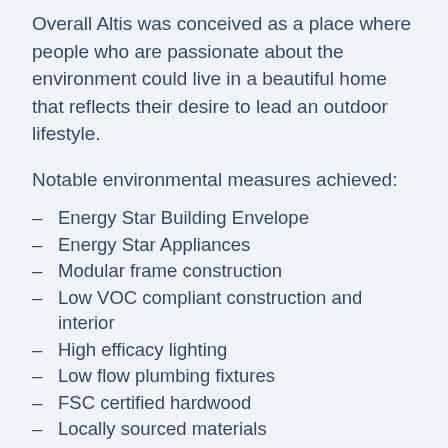Overall Altis was conceived as a place where people who are passionate about the environment could live in a beautiful home that reflects their desire to lead an outdoor lifestyle.
Notable environmental measures achieved:
Energy Star Building Envelope
Energy Star Appliances
Modular frame construction
Low VOC compliant construction and interior
High efficacy lighting
Low flow plumbing fixtures
FSC certified hardwood
Locally sourced materials
Heat recovery ventilation
High performance insulated glass assemblies
High performance radiant hydronic heating